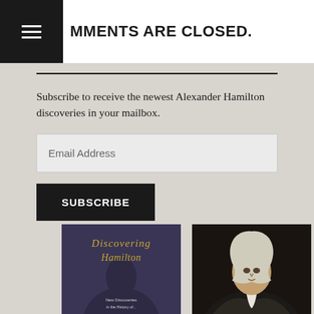MMENTS ARE CLOSED.
Subscribe to receive the newest Alexander Hamilton discoveries in your mailbox.
Email Address
SUBSCRIBE
[Figure (photo): Book cover of 'Discovering Hamilton' with subtitle 'New Discoveries in the History of...' featuring a portrait illustration]
[Figure (photo): Portrait painting of Alexander Hamilton in formal attire with white cravat against dark background]